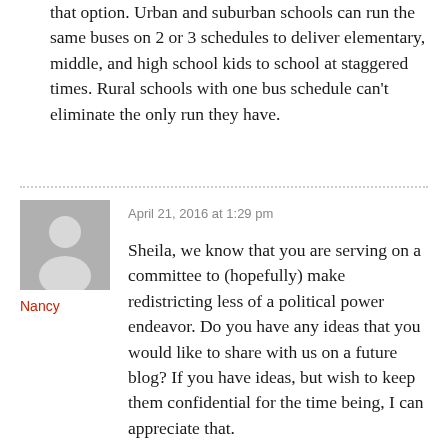that option. Urban and suburban schools can run the same buses on 2 or 3 schedules to deliver elementary, middle, and high school kids to school at staggered times. Rural schools with one bus schedule can't eliminate the only run they have.
April 21, 2016 at 1:29 pm
[Figure (illustration): Gray avatar silhouette icon of a person]
Nancy
Sheila, we know that you are serving on a committee to (hopefully) make redistricting less of a political power endeavor. Do you have any ideas that you would like to share with us on a future blog? If you have ideas, but wish to keep them confidential for the time being, I can appreciate that.